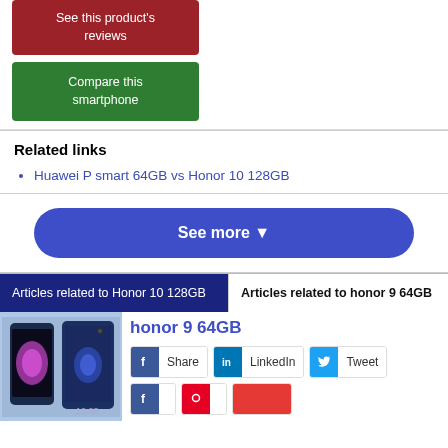See this product's reviews
Compare this smartphone
Related links
Huawei P smart 64GB vs Honor 10 128GB
See more ▼
Articles related to Honor 10 128GB
Articles related to honor 9 64GB
honor 9 64GB
Share  LinkedIn  Tweet